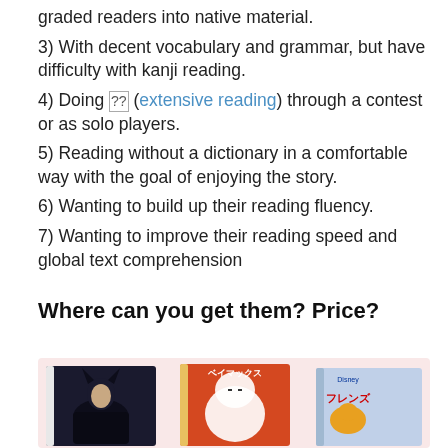graded readers into native material.
3) With decent vocabulary and grammar, but have difficulty with kanji reading.
4) Doing 多読 (extensive reading) through a contest or as solo players.
5) Reading without a dictionary in a comfortable way with the goal of enjoying the story.
6) Wanting to build up their reading fluency.
7) Wanting to improve their reading speed and global text comprehension
Where can you get them? Price?
[Figure (photo): Three Japanese manga/graded reader book covers displayed on a pink background: Maleficent (black cover with character), Big Hero 6 (ベイマックス), and Frozen (フレンズ), partially shown.]